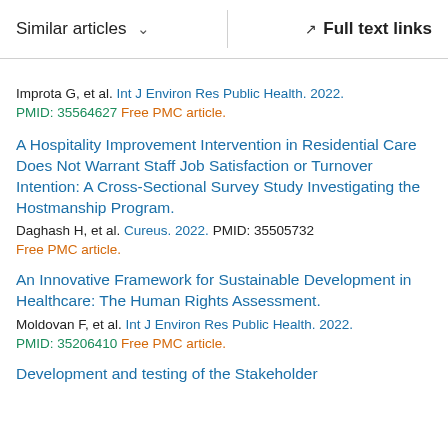Similar articles   ∨        Full text links
Improta G, et al. Int J Environ Res Public Health. 2022. PMID: 35564627 Free PMC article.
A Hospitality Improvement Intervention in Residential Care Does Not Warrant Staff Job Satisfaction or Turnover Intention: A Cross-Sectional Survey Study Investigating the Hostmanship Program.
Daghash H, et al. Cureus. 2022. PMID: 35505732 Free PMC article.
An Innovative Framework for Sustainable Development in Healthcare: The Human Rights Assessment.
Moldovan F, et al. Int J Environ Res Public Health. 2022. PMID: 35206410 Free PMC article.
Development and testing of the Stakeholder